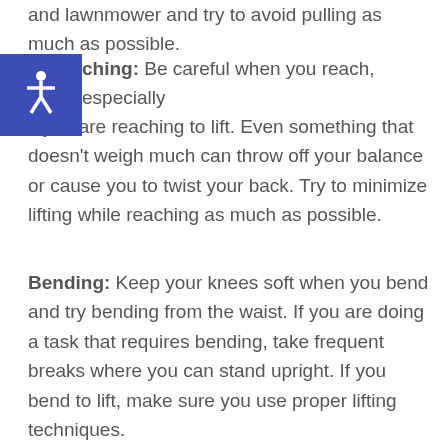and lawnmower and try to avoid pulling as much as possible.
[Figure (logo): Blue square accessibility/wheelchair icon]
Reaching: Be careful when you reach, especially if you are reaching to lift. Even something that doesn't weigh much can throw off your balance or cause you to twist your back. Try to minimize lifting while reaching as much as possible.
Bending: Keep your knees soft when you bend and try bending from the waist. If you are doing a task that requires bending, take frequent breaks where you can stand upright. If you bend to lift, make sure you use proper lifting techniques.